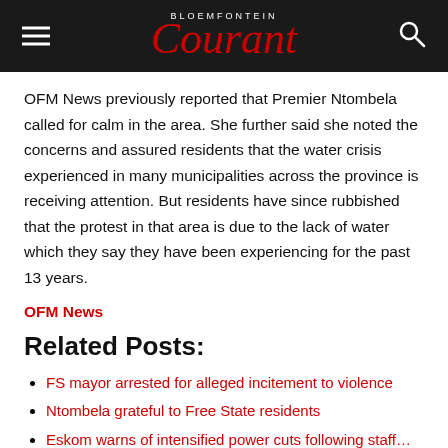BLOEMFONTEIN Courant
OFM News previously reported that Premier Ntombela called for calm in the area. She further said she noted the concerns and assured residents that the water crisis experienced in many municipalities across the province is receiving attention. But residents have since rubbished that the protest in that area is due to the lack of water which they say they have been experiencing for the past 13 years.
OFM News
Related Posts:
FS mayor arrested for alleged incitement to violence
Ntombela grateful to Free State residents
Eskom warns of intensified power cuts following staff…